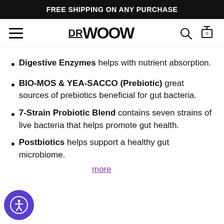FREE SHIPPING ON ANY PURCHASE
[Figure (logo): DR WOOW logo with hamburger menu, search icon, and cart icon (0 items) in navigation bar]
Digestive Enzymes helps with nutrient absorption.
BIO-MOS & YEA-SACCO (Prebiotic) great sources of prebiotics beneficial for gut bacteria.
7-Strain Probiotic Blend contains seven strains of live bacteria that helps promote gut health.
Postbiotics helps support a healthy gut microbiome.
more